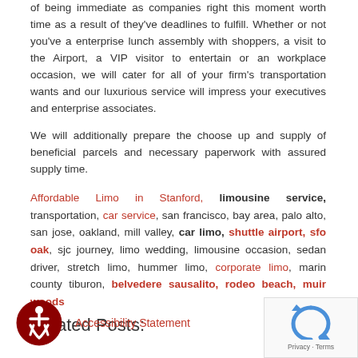of being immediate as companies right this moment worth time as a result of they've deadlines to fulfill. Whether or not you've a enterprise lunch assembly with shoppers, a visit to the Airport, a VIP visitor to entertain or an workplace occasion, we will cater for all of your firm's transportation wants and our luxurious service will impress your executives and enterprise associates.
We will additionally prepare the choose up and supply of beneficial parcels and necessary paperwork with assured supply time.
Affordable Limo in Stanford, limousine service, transportation, car service, san francisco, bay area, palo alto, san jose, oakland, mill valley, car limo, shuttle airport, sfo oak, sjc journey, limo wedding, limousine occasion, sedan driver, stretch limo, hummer limo, corporate limo, marin county tiburon, belvedere sausalito, rodeo beach, muir woods
Related Posts:
Accessibility Statement